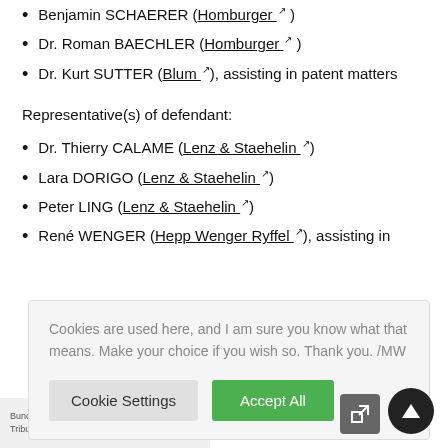Benjamin SCHAERER (Homburger)
Dr. Roman BAECHLER (Homburger)
Dr. Kurt SUTTER (Blum), assisting in patent matters
Representative(s) of defendant:
Dr. Thierry CALAME (Lenz & Staehelin)
Lara DORIGO (Lenz & Staehelin)
Peter LING (Lenz & Staehelin)
René WENGER (Hepp Wenger Ryffel), assisting in
Cookies are used here, and I am sure you know what that means. Make your choice if you wish so. Thank you. /MW